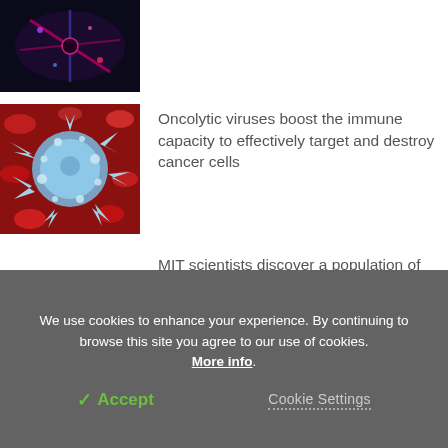[Figure (photo): Microscopy image of neurons with fluorescent red/blue staining on dark background]
[Figure (photo): 3D illustration of a cancer cell surrounded by red blood cells, showing immune attack]
Oncolytic viruses boost the immune capacity to effectively target and destroy cancer cells
MIT scientists discover a population of food-responsive neurons in the ventral visual stream
We use cookies to enhance your experience. By continuing to browse this site you agree to our use of cookies. More info.
✓ Accept
Cookie Settings